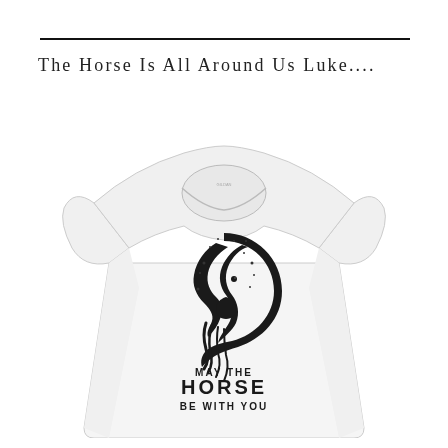The Horse Is All Around Us Luke....
[Figure (photo): White women's fitted t-shirt with a black horse head graphic and text reading 'MAY THE HORSE BE WITH YOU' printed on the chest]